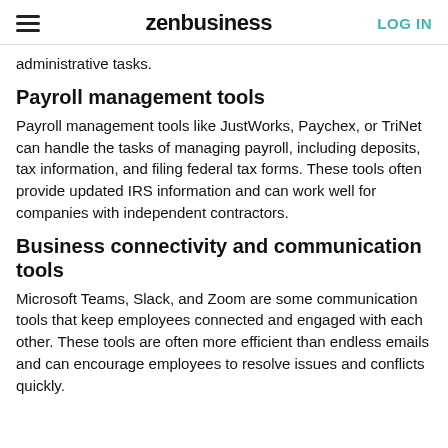zenbusiness | LOG IN
administrative tasks.
Payroll management tools
Payroll management tools like JustWorks, Paychex, or TriNet can handle the tasks of managing payroll, including deposits, tax information, and filing federal tax forms. These tools often provide updated IRS information and can work well for companies with independent contractors.
Business connectivity and communication tools
Microsoft Teams, Slack, and Zoom are some communication tools that keep employees connected and engaged with each other. These tools are often more efficient than endless emails and can encourage employees to resolve issues and conflicts quickly.